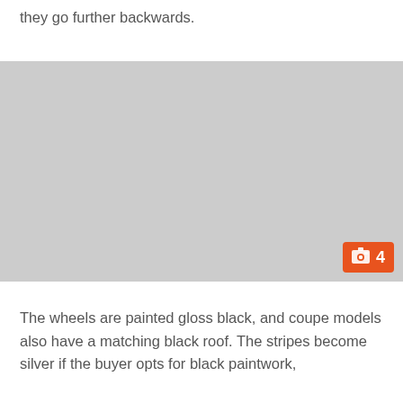they go further backwards.
[Figure (photo): A grey placeholder image block with an orange badge showing a photo icon and the number 4 in the bottom-right corner.]
The wheels are painted gloss black, and coupe models also have a matching black roof. The stripes become silver if the buyer opts for black paintwork,